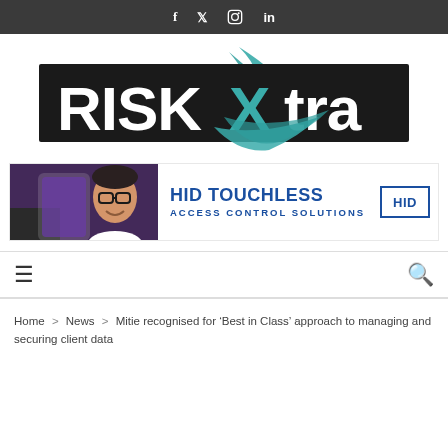f  Twitter  Instagram  in
[Figure (logo): RISKXtra logo — bold white text on black rectangle with teal brush-stroke X overlay]
[Figure (photo): HID Touchless Access Control Solutions advertisement — man with glasses holding HID mobile credential card, HID logo on right]
☰  🔍
Home > News > Mitie recognised for 'Best in Class' approach to managing and securing client data